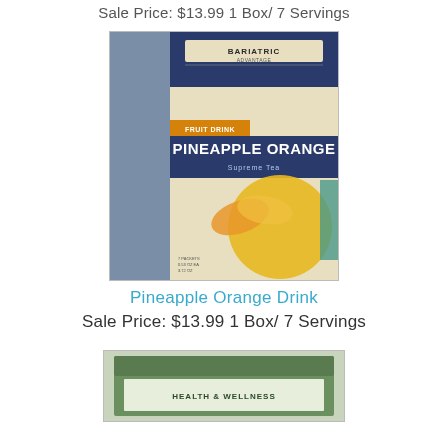Sale Price: $13.99 1 Box/ 7 Servings
[Figure (photo): Bariatric Advantage Pineapple Orange Fruit Drink product box with pineapple and orange imagery]
Pineapple Orange Drink
Sale Price: $13.99 1 Box/ 7 Servings
[Figure (photo): Partial view of another product box, green colored, health and wellness product]